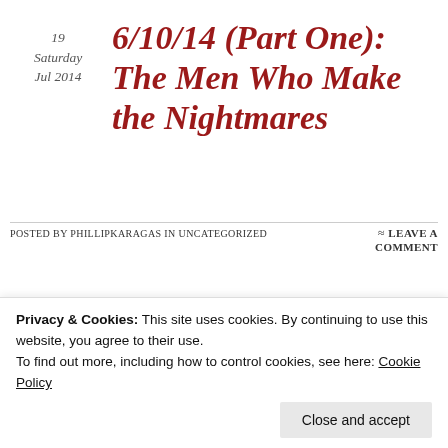19
Saturday
Jul 2014
6/10/14 (Part One): The Men Who Make the Nightmares
Posted by phillipkaragas in Uncategorized ≈ Leave a comment
[Figure (illustration): EPIX Original Documentary movie poster/cover featuring a clapperboard and text: 'How the gross out geeks at KNBSFEX carved out their place in the history of cinema.']
Tags
Privacy & Cookies: This site uses cookies. By continuing to use this website, you agree to their use.
To find out more, including how to control cookies, see here: Cookie Policy
Close and accept